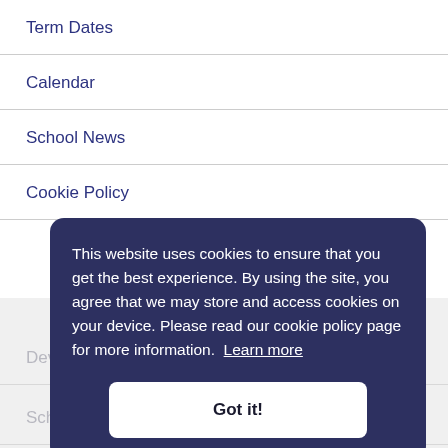Term Dates
Calendar
School News
Cookie Policy
This website uses cookies to ensure that you get the best experience. By using the site, you agree that we may store and access cookies on your device. Please read our cookie policy page for more information. Learn more
Got it!
Dev
Sch